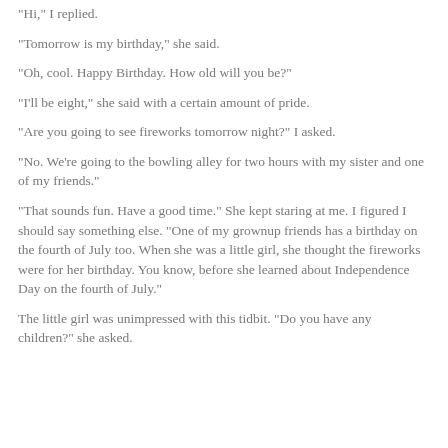"Hi," I replied.
"Tomorrow is my birthday," she said.
"Oh, cool. Happy Birthday. How old will you be?"
"I'll be eight," she said with a certain amount of pride.
"Are you going to see fireworks tomorrow night?" I asked.
"No. We're going to the bowling alley for two hours with my sister and one of my friends."
"That sounds fun. Have a good time." She kept staring at me. I figured I should say something else. "One of my grownup friends has a birthday on the fourth of July too. When she was a little girl, she thought the fireworks were for her birthday. You know, before she learned about Independence Day on the fourth of July."
The little girl was unimpressed with this tidbit. "Do you have any children?" she asked.